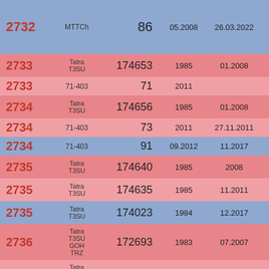| ID | Type | Serial | Year | Date1 | Date2 |
| --- | --- | --- | --- | --- | --- |
| 2732 | MTTCh | 86 | 05.2008 | 26.03.2022 |  |
| 2733 | Tatra T3SU | 174653 | 1985 | 01.2008 | 2011 |
| 2733 | 71-403 | 71 | 2011 |  | 04.2022 |
| 2734 | Tatra T3SU | 174656 | 1985 | 01.2008 | 2011 |
| 2734 | 71-403 | 73 | 2011 | 27.11.2011 | 04.2022 |
| 2734 | 71-403 | 91 | 09.2012 | 11.2017 |  |
| 2735 | Tatra T3SU | 174640 | 1985 | 2008 | 2009 |
| 2735 | Tatra T3SU | 174635 | 1985 | 11.2011 | 04.2021 |
| 2735 | Tatra T3SU | 174023 | 1984 | 12.2017 |  |
| 2736 | Tatra T3SU GOH TRZ | 172693 | 1983 | 07.2007 | 04.2022 |
| 2737 | Tatra T3SU GOH TRZ | 172341 | 1983 | 2007 | 04.2022 |
| 2737+ | Tatra... |  |  |  |  |